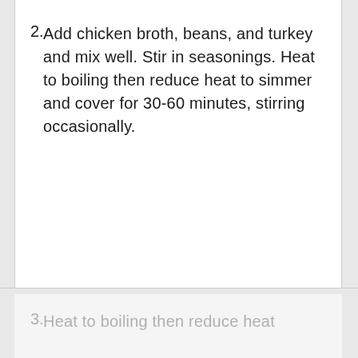2. Add chicken broth, beans, and turkey and mix well. Stir in seasonings. Heat to boiling then reduce heat to simmer and cover for 30-60 minutes, stirring occasionally.
3. Heat to boiling then reduce heat